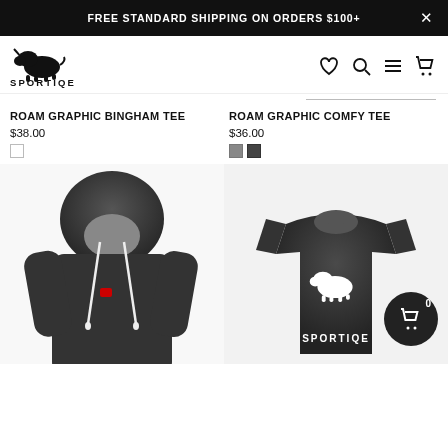FREE STANDARD SHIPPING ON ORDERS $100+
[Figure (logo): Sportiqe bison logo with text SPORTIQE]
[Figure (screenshot): Navigation icons: heart, search, menu, cart]
ROAM GRAPHIC BINGHAM TEE
$38.00
ROAM GRAPHIC COMFY TEE
$36.00
[Figure (photo): Dark charcoal zip hoodie product photo]
[Figure (photo): Dark charcoal t-shirt with white Sportiqe bison graphic, with floating cart icon showing 0 items]